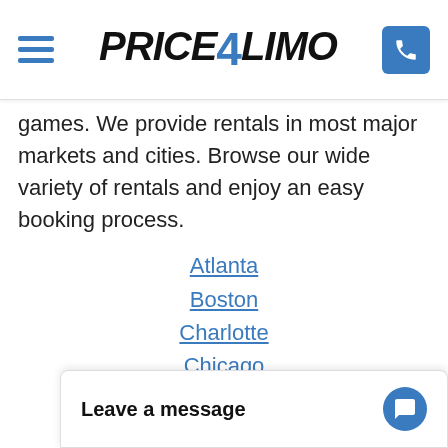Price4Limo navigation header with logo and phone button
games. We provide rentals in most major markets and cities. Browse our wide variety of rentals and enjoy an easy booking process.
Atlanta
Boston
Charlotte
Chicago
Dallas
Chicago
Dallas
Detroit